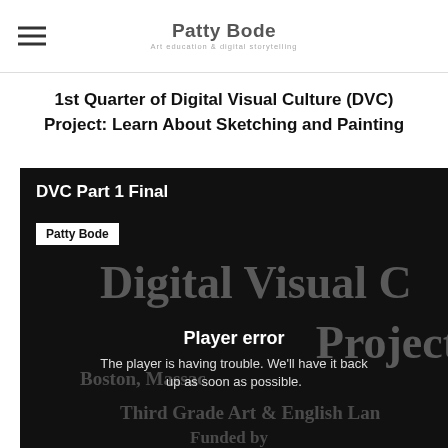Patty Bode
1st Quarter of Digital Visual Culture (DVC) Project: Learn About Sketching and Painting
[Figure (screenshot): Embedded video player showing 'DVC Part 1 Final' by Patty Bode. The video background shows text: 'Digital Visual Culture Project, Boston Massachusetts, Third Grade Art & English Language Arts, Funded by National Art Education Foundation'. A player error overlay reads: 'Player error — The player is having trouble. We'll have it back up as soon as possible.']